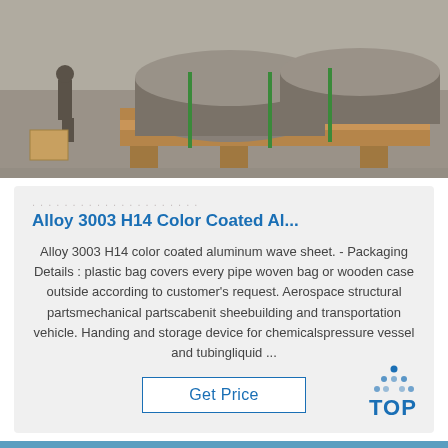[Figure (photo): Large aluminum rolls/coils stacked on wooden pallets in a warehouse, tied with green straps]
Alloy 3003 H14 Color Coated Al...
Alloy 3003 H14 color coated aluminum wave sheet. - Packaging Details : plastic bag covers every pipe woven bag or wooden case outside according to customer's request. Aerospace structural partsmechanical partscabenit sheebuilding and transportation vehicle. Handing and storage device for chemicalspressure vessel and tubingliquid ...
[Figure (logo): TOP logo with blue dots arranged in a triangle above the letters TOP in blue]
[Figure (photo): Bottom strip showing blue/teal aluminum sheets or coils]